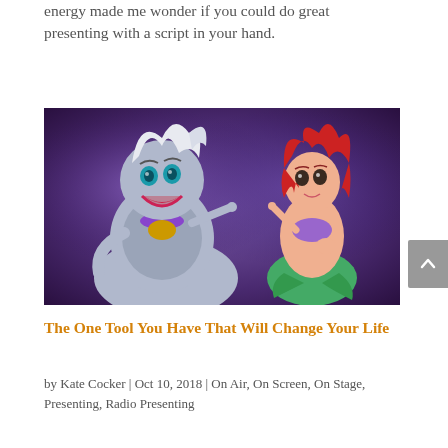energy made me wonder if you could do great presenting with a script in your hand.
[Figure (illustration): Animated scene from The Little Mermaid showing Ursula (white-haired villain with blue skin) facing Ariel (red-haired mermaid) against a purple background. Both characters appear to be in conversation with fingers pointed.]
The One Tool You Have That Will Change Your Life
by Kate Cocker | Oct 10, 2018 | On Air, On Screen, On Stage, Presenting, Radio Presenting